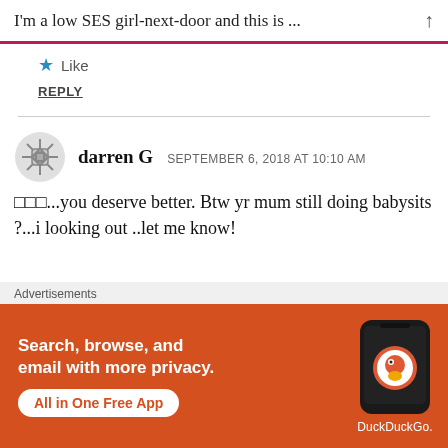I'm a low SES girl-next-door and this is ...
Like
REPLY
darren G   SEPTEMBER 6, 2018 AT 10:10 AM
□□□...you deserve better. Btw yr mum still doing babysits ?...i looking out ..let me know!
[Figure (infographic): DuckDuckGo advertisement banner with orange background. Text: 'Search, browse, and email with more privacy. All in One Free App'. Shows a smartphone with DuckDuckGo logo and branding.]